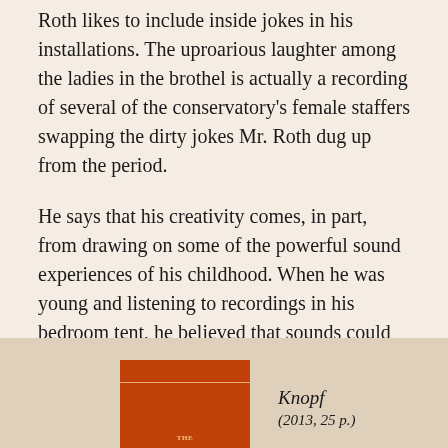Roth likes to include inside jokes in his installations. The uproarious laughter among the ladies in the brothel is actually a recording of several of the conservatory's female staffers swapping the dirty jokes Mr. Roth dug up from the period.
He says that his creativity comes, in part, from drawing on some of the powerful sound experiences of his childhood. When he was young and listening to recordings in his bedroom tent, he believed that sounds could transport him to another time and place. He still believes that today.
[Figure (illustration): Book cover with orange/red background, partial text visible at bottom]
Knopf
(2013, 25 p.)